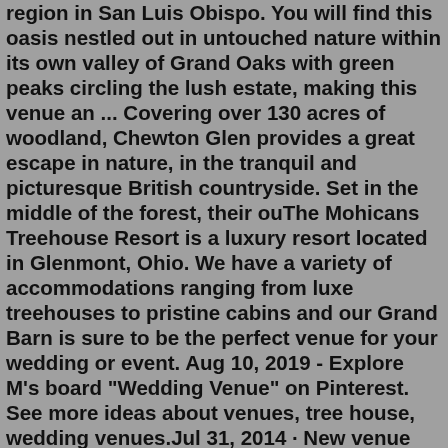region in San Luis Obispo. You will find this oasis nestled out in untouched nature within its own valley of Grand Oaks with green peaks circling the lush estate, making this venue an ... Covering over 130 acres of woodland, Chewton Glen provides a great escape in nature, in the tranquil and picturesque British countryside. Set in the middle of the forest, their ouThe Mohicans Treehouse Resort is a luxury resort located in Glenmont, Ohio. We have a variety of accommodations ranging from luxe treehouses to pristine cabins and our Grand Barn is sure to be the perfect venue for your wedding or event. Aug 10, 2019 - Explore M's board "Wedding Venue" on Pinterest. See more ideas about venues, tree house, wedding venues.Jul 31, 2014 · New venue alert! When Lombardi House popped up on our radar we knew we had to share it ASAP. It would be such a lovely place for a wedding or intimate event. Built in 1904 and beautifully maintained, this venue is quite the stunner: a Victorian-style farmhouse with a fresh white exterior, brick porch, elegant guest apartments,